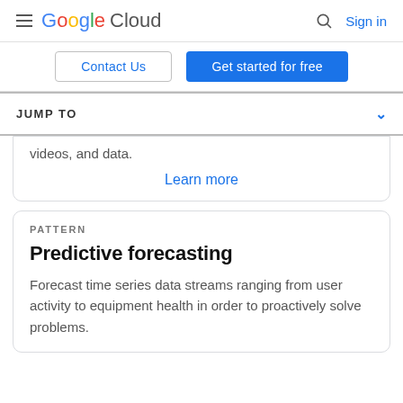Google Cloud — Sign in
Contact Us | Get started for free
JUMP TO
videos, and data.
Learn more
PATTERN
Predictive forecasting
Forecast time series data streams ranging from user activity to equipment health in order to proactively solve problems.